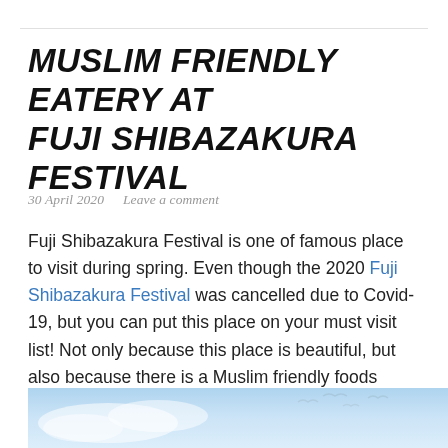MUSLIM FRIENDLY EATERY AT FUJI SHIBAZAKURA FESTIVAL
30 April 2020   Leave a comment
Fuji Shibazakura Festival is one of famous place to visit during spring. Even though the 2020 Fuji Shibazakura Festival was cancelled due to Covid-19, but you can put this place on your must visit list! Not only because this place is beautiful, but also because there is a Muslim friendly foods available there too!
[Figure (photo): Sky with soft blue tones and bird silhouettes, partial view at bottom of page]